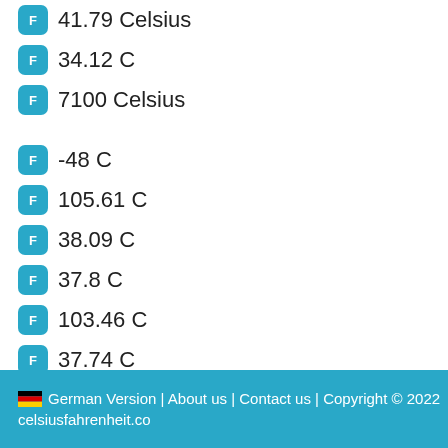41.79 Celsius
34.12 C
7100 Celsius
-48 C
105.61 C
38.09 C
37.8 C
103.46 C
37.74 C
-75 C
33.2 Celsius
German Version | About us | Contact us | Copyright © 2022 celsiusfahrenheit.co